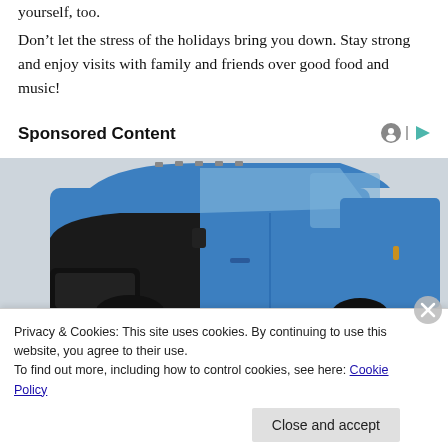yourself, too.
Don’t let the stress of the holidays bring you down. Stay strong and enjoy visits with family and friends over good food and music!
Sponsored Content
[Figure (photo): Blue pickup truck (RAM-style) with black hood and black grille, photographed from the front-left angle against a light gray background.]
Privacy & Cookies: This site uses cookies. By continuing to use this website, you agree to their use.
To find out more, including how to control cookies, see here: Cookie Policy
Close and accept